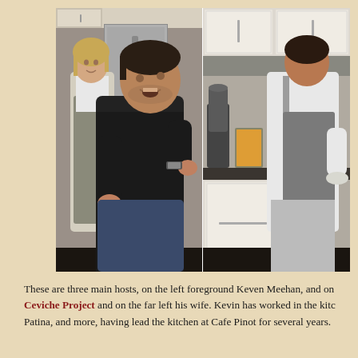[Figure (photo): Two kitchen scenes side by side. Left: a man in a black t-shirt and apron (Keven Meehan) in the foreground speaking, with a woman in a gray apron standing behind near a stainless steel refrigerator. Right: a man in a white shirt and gray apron working at a kitchen counter with white cabinets and appliances.]
These are three main hosts, on the left foreground Keven Meehan, and on Ceviche Project and on the far left his wife. Kevin has worked in the kitc Patina, and more, having lead the kitchen at Cafe Pinot for several years.